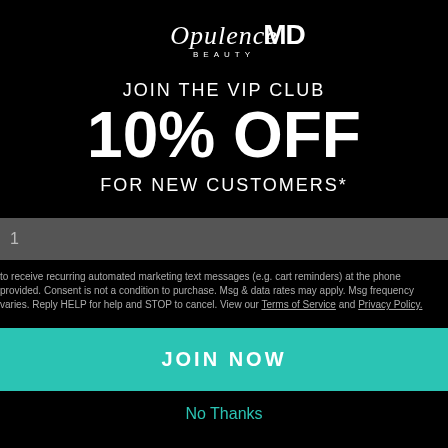[Figure (logo): OpulenceMD Beauty logo in white on black background]
JOIN THE VIP CLUB
10% OFF
FOR NEW CUSTOMERS*
1
to receive recurring automated marketing text messages (e.g. cart reminders) at the phone provided. Consent is not a condition to purchase. Msg & data rates may apply. Msg frequency varies. Reply HELP for help and STOP to cancel. View our Terms of Service and Privacy Policy.
JOIN NOW
No Thanks